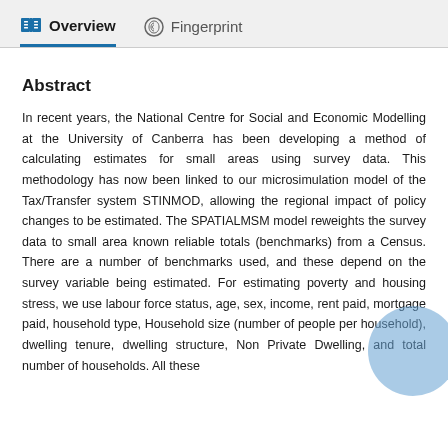Overview   Fingerprint
Abstract
In recent years, the National Centre for Social and Economic Modelling at the University of Canberra has been developing a method of calculating estimates for small areas using survey data. This methodology has now been linked to our microsimulation model of the Tax/Transfer system STINMOD, allowing the regional impact of policy changes to be estimated. The SPATIALMSM model reweights the survey data to small area known reliable totals (benchmarks) from a Census. There are a number of benchmarks used, and these depend on the survey variable being estimated. For estimating poverty and housing stress, we use labour force status, age, sex, income, rent paid, mortgage paid, household type, Household size (number of people per household), dwelling tenure, dwelling structure, Non Private Dwelling, and total number of households. All these